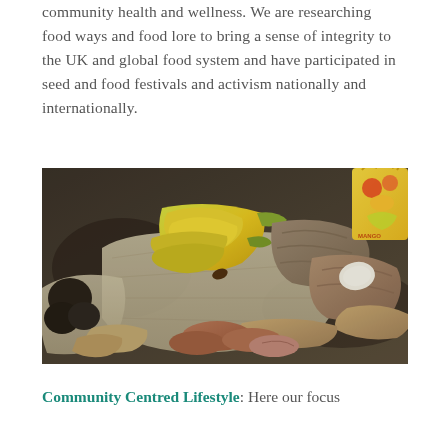community health and wellness. We are researching food ways and food lore to bring a sense of integrity to the UK and global food system and have participated in seed and food festivals and activism nationally and internationally.
[Figure (photo): Photo of a collection of tropical foods laid out on burlap sacks: a bunch of yellow-green bananas in the center, various root vegetables (yams, sweet potatoes, cassava) arranged around them, some dark round fruits on the left, and a colorful bag visible in the upper right corner.]
Community Centred Lifestyle: Here our focus